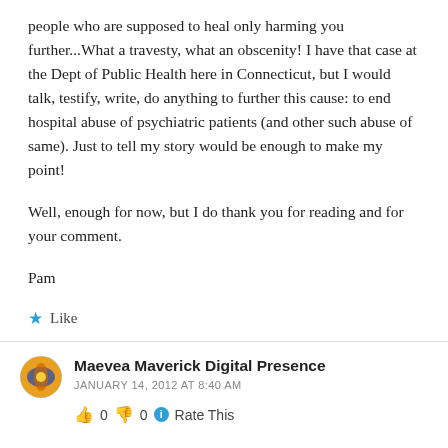people who are supposed to heal only harming you further...What a travesty, what an obscenity! I have that case at the Dept of Public Health here in Connecticut, but I would talk, testify, write, do anything to further this cause: to end hospital abuse of psychiatric patients (and other such abuse of same). Just to tell my story would be enough to make my point!

Well, enough for now, but I do thank you for reading and for your comment.

Pam
Like
Maevea Maverick Digital Presence
JANUARY 14, 2012 AT 8:40 AM
👍 0 👎 0 Rate This